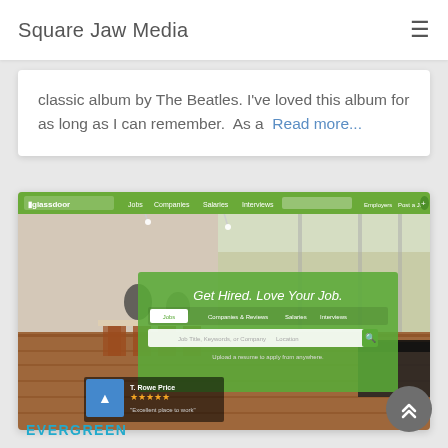Square Jaw Media
classic album by The Beatles. I've loved this album for as long as I can remember.  As a  Read more...
[Figure (screenshot): Screenshot of the Glassdoor website homepage showing 'Get Hired. Love Your Job.' headline with job search fields, navigation bar with Jobs, Companies, Salaries, Interviews tabs, and background photo of a modern office with people seated at tables.]
EVERGREEN